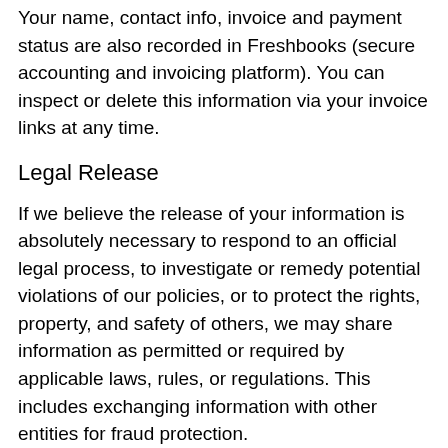Your name, contact info, invoice and payment status are also recorded in Freshbooks (secure accounting and invoicing platform). You can inspect or delete this information via your invoice links at any time.
Legal Release
If we believe the release of your information is absolutely necessary to respond to an official legal process, to investigate or remedy potential violations of our policies, or to protect the rights, property, and safety of others, we may share information as permitted or required by applicable laws, rules, or regulations. This includes exchanging information with other entities for fraud protection.
We've been fortunate that our clients conduct themselves with honesty and integrity, so we have never had to use this clause. All the same, we've got to keep the lawyers happy.